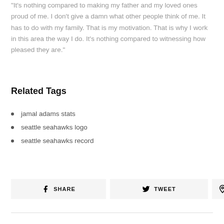“It’s nothing compared to making my father and my loved ones proud of me. I don’t give a damn what other people think of me. It has to do with my family. That is my motivation. That is why I work in this area the way I do. It’s nothing compared to witnessing how pleased they are.”
Related Tags
jamal adams stats
seattle seahawks logo
seattle seahawks record